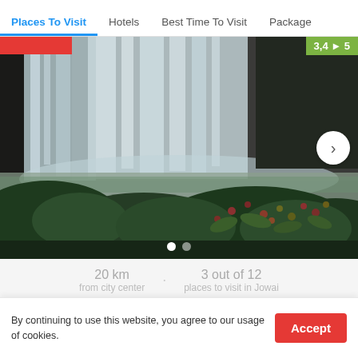Places To Visit | Hotels | Best Time To Visit | Package
[Figure (photo): Waterfall scene with lush green vegetation in the foreground and a large waterfall in the background]
20 km from city center · 3 out of 12 places to visit in Jowai
By continuing to use this website, you agree to our usage of cookies.